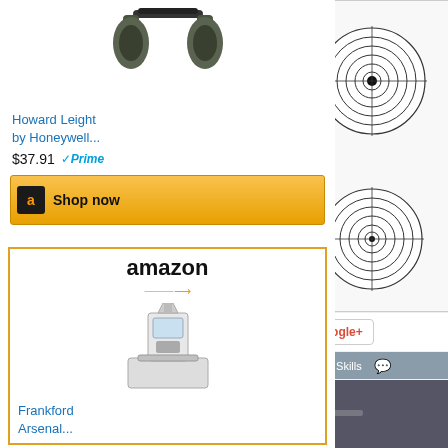[Figure (photo): Howard Leight electronic earmuffs product photo on white background]
Howard Leight by Honeywell...
$37.91  ✓Prime
Shop now
[Figure (logo): Amazon logo with orange arrow]
[Figure (photo): Frankford Arsenal reloading scale product photo]
Frankford Arsenal...
Shop now
[Figure (photo): Shooting targets sheet with 5 bullseye circles arranged on white paper]
Facebook
Twitter
Google+
Permalink  Competition, Shooting Skills
[Figure (photo): Person shooting a rifle, close-up action photo]